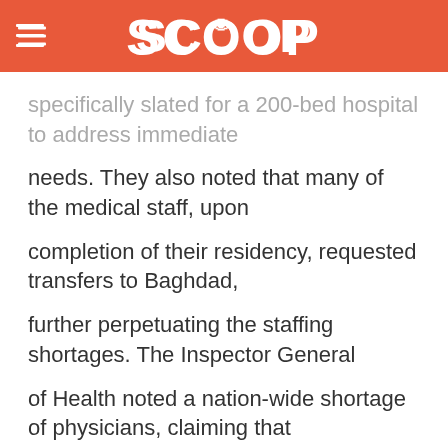SCOOP
specifically slated for a 200-bed hospital to address immediate
needs. They also noted that many of the medical staff, upon
completion of their residency, requested transfers to Baghdad,
further perpetuating the staffing shortages. The Inspector General
of Health noted a nation-wide shortage of physicians, claiming that
Iraq has lost 8,000 physicians since 2003. Currently, a single
primary health center (PHC) is serving on average 40,000 people.